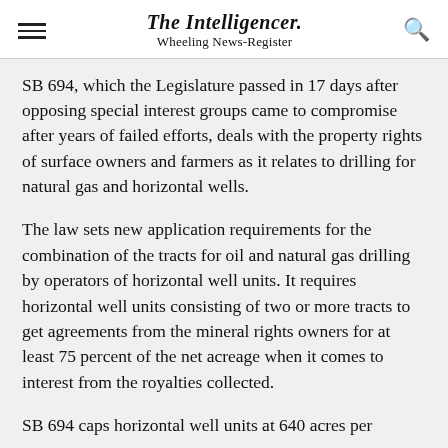The Intelligencer. Wheeling News-Register
SB 694, which the Legislature passed in 17 days after opposing special interest groups came to compromise after years of failed efforts, deals with the property rights of surface owners and farmers as it relates to drilling for natural gas and horizontal wells.
The law sets new application requirements for the combination of the tracts for oil and natural gas drilling by operators of horizontal well units. It requires horizontal well units consisting of two or more tracts to get agreements from the mineral rights owners for at least 75 percent of the net acreage when it comes to interest from the royalties collected.
SB 694 caps horizontal well units at 640 acres per